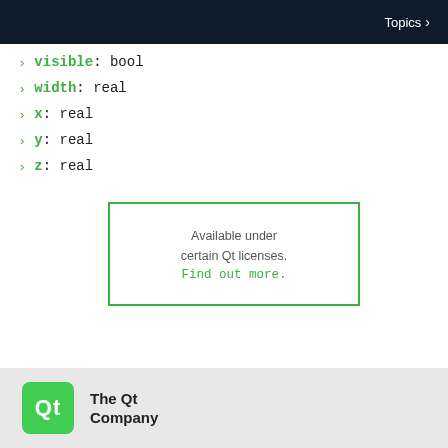Topics >
> visible : bool
> width : real
> x : real
> y : real
> z : real
Available under certain Qt licenses. Find out more.
Qt  The Qt Company